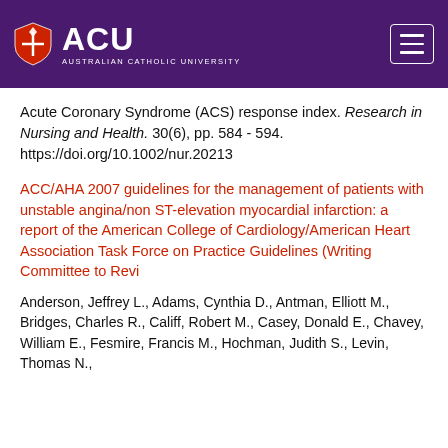[Figure (logo): ACU Australian Catholic University logo with shield on purple background header bar]
Acute Coronary Syndrome (ACS) response index. Research in Nursing and Health. 30(6), pp. 584 - 594. https://doi.org/10.1002/nur.20213
ACC/AHA 2007 guidelines for the management of patients with unstable angina/non ST-elevation myocardial infarction: a report of the American College of Cardiology/American Heart Association Task Force on Practice Guidelines (Writing Committee to Revi
Anderson, Jeffrey L., Adams, Cynthia D., Antman, Elliott M., Bridges, Charles R., Califf, Robert M., Casey, Donald E., Chavey, William E., Fesmire, Francis M., Hochman, Judith S., Levin, Thomas N.,